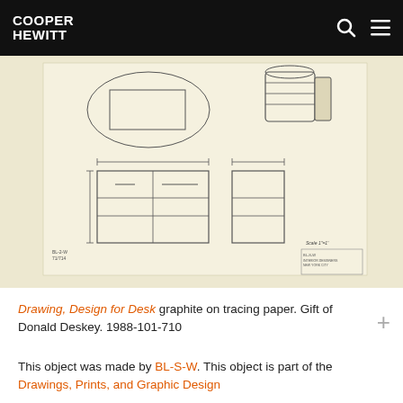COOPER HEWITT
[Figure (photo): Architectural/technical drawing of a desk design on tracing paper, showing top view with oval and rectangular outlines, front view with drawer details, and a partial perspective of a cylindrical element. Graphite on cream-colored tracing paper.]
Drawing, Design for Desk graphite on tracing paper. Gift of Donald Deskey. 1988-101-710
This object was made by BL-S-W. This object is part of the Drawings, Prints, and Graphic Design